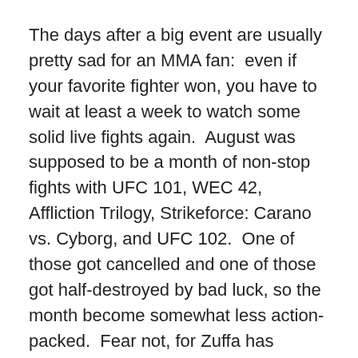The days after a big event are usually pretty sad for an MMA fan:  even if your favorite fighter won, you have to wait at least a week to watch some solid live fights again.  August was supposed to be a month of non-stop fights with UFC 101, WEC 42, Affliction Trilogy, Strikeforce: Carano vs. Cyborg, and UFC 102.  One of those got cancelled and one of those got half-destroyed by bad luck, so the month become somewhat less action-packed.  Fear not, for Zuffa has another fight on the way as they fight for global MMA domination and control of our thin wallets.  UFC 103 will feature Rich Franklin vs. Vitor Belfort and Cro-Cop vs. Junior Dos Santos as co-main events.  If that doesn't get you excited, what will?
The rather lengthy preview video and full fight card